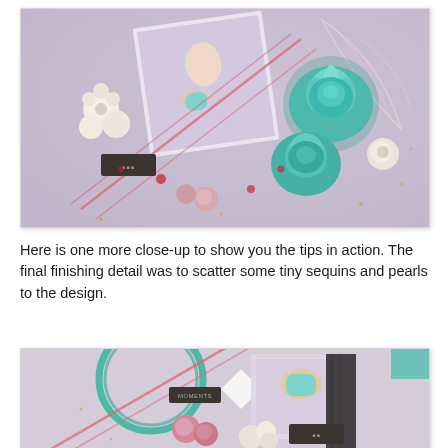[Figure (photo): Close-up photograph of a scrapbook layout featuring large teal/mint roses, cream small flowers, decorative leaves, a photograph of a child, striped elements, and various embellishments on a lavender background.]
Here is one more close-up to show you the tips in action. The final finishing detail was to scatter some tiny sequins and pearls to the design.
[Figure (photo): Second close-up photograph of a scrapbook layout showing a teal wreath/circle element, pink and cream flowers, a photograph of a child with yellow/gold tones, striped red lines, and text tag reading 'MOMENTS' on a light background.]